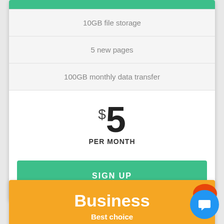10GB file storage
5 new pages
100GB monthly data transfer
$5 PER MONTH
SIGN UP
Business
Best choice